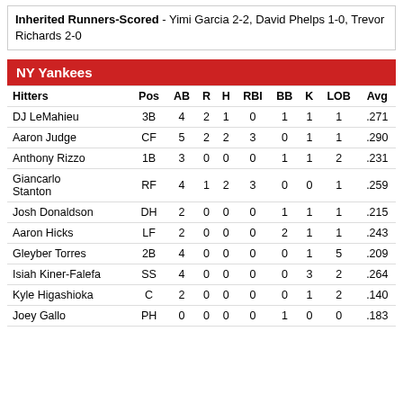Inherited Runners-Scored - Yimi Garcia 2-2, David Phelps 1-0, Trevor Richards 2-0
NY Yankees
| Hitters | Pos | AB | R | H | RBI | BB | K | LOB | Avg |
| --- | --- | --- | --- | --- | --- | --- | --- | --- | --- |
| DJ LeMahieu | 3B | 4 | 2 | 1 | 0 | 1 | 1 | 1 | .271 |
| Aaron Judge | CF | 5 | 2 | 2 | 3 | 0 | 1 | 1 | .290 |
| Anthony Rizzo | 1B | 3 | 0 | 0 | 0 | 1 | 1 | 2 | .231 |
| Giancarlo Stanton | RF | 4 | 1 | 2 | 3 | 0 | 0 | 1 | .259 |
| Josh Donaldson | DH | 2 | 0 | 0 | 0 | 1 | 1 | 1 | .215 |
| Aaron Hicks | LF | 2 | 0 | 0 | 0 | 2 | 1 | 1 | .243 |
| Gleyber Torres | 2B | 4 | 0 | 0 | 0 | 0 | 1 | 5 | .209 |
| Isiah Kiner-Falefa | SS | 4 | 0 | 0 | 0 | 0 | 3 | 2 | .264 |
| Kyle Higashioka | C | 2 | 0 | 0 | 0 | 0 | 1 | 2 | .140 |
| Joey Gallo | PH | 0 | 0 | 0 | 0 | 1 | 0 | 0 | .183 |